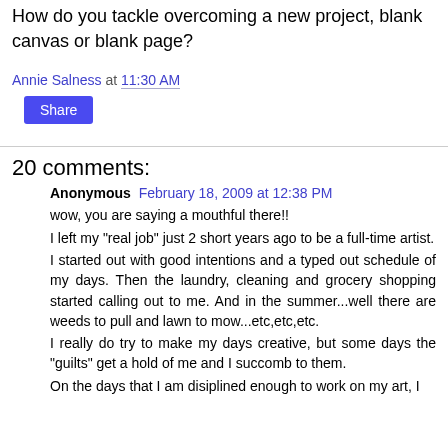How do you tackle overcoming a new project, blank canvas or blank page?
Annie Salness at 11:30 AM
Share
20 comments:
Anonymous February 18, 2009 at 12:38 PM
wow, you are saying a mouthful there!! I left my "real job" just 2 short years ago to be a full-time artist. I started out with good intentions and a typed out schedule of my days. Then the laundry, cleaning and grocery shopping started calling out to me. And in the summer...well there are weeds to pull and lawn to mow...etc,etc,etc. I really do try to make my days creative, but some days the "guilts" get a hold of me and I succomb to them. On the days that I am disiplined enough to work on my art, I